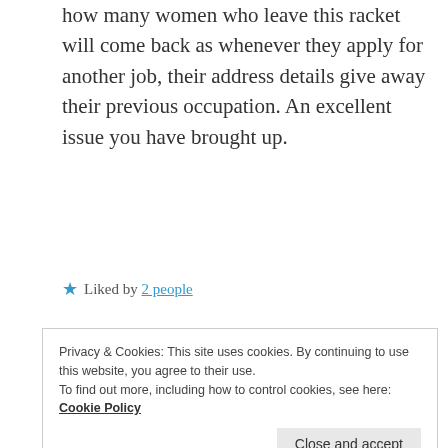how many women who leave this racket will come back as whenever they apply for another job, their address details give away their previous occupation. An excellent issue you have brought up.
★ Liked by 2 people
REPLY
HEMALATHA RAMESH
December 26, 2020 at 7:44 pm
Privacy & Cookies: This site uses cookies. By continuing to use this website, you agree to their use.
To find out more, including how to control cookies, see here: Cookie Policy
their pleasure is something inhumane.